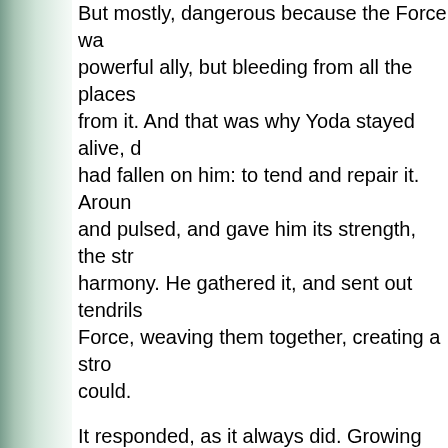But mostly, dangerous because the Force was a powerful ally, but bleeding from all the places torn from it. And that was why Yoda stayed alive, duty had fallen on him: to tend and repair it. Around him it sang and pulsed, and gave him its strength, the strength of harmony. He gathered it, and sent out tendrils of Force, weaving them together, creating a stronger web could.
It responded, as it always did. Growing strong as it went through the old Master, and the Force sensing the strange, ugly current of the Dark burning hands bent on tearing and destroying again of the clammy water around his waist, up his arm. He set it down on a leaf, and mad
"It cannot die."
"Exiled, it can be. Hurt." Yoda looked at the sh take this form, you do not. Hear you, I can, wh
Obi-Wan nodded non-committally. "Yes, I sup ought to get some practice."
"Heh." Yoda starting making his way back hor footing.
"You seem not to approve," Obi-Wan commer
"Coming along, he is."